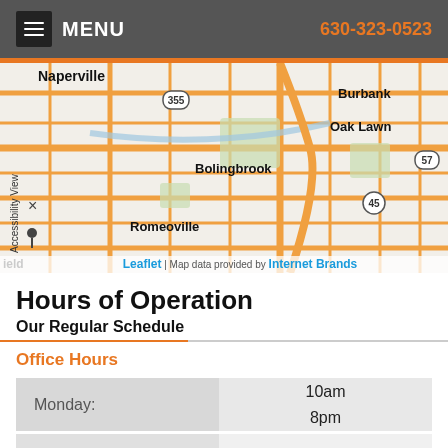MENU | 630-323-0523
[Figure (map): Street map showing Naperville, Bolingbrook, Romeoville, Burbank, Oak Lawn area with route markers 355, 45, 57. Leaflet map data provided by Internet Brands.]
Hours of Operation
Our Regular Schedule
Office Hours
| Day | Hours |
| --- | --- |
| Monday: | 10am
8pm |